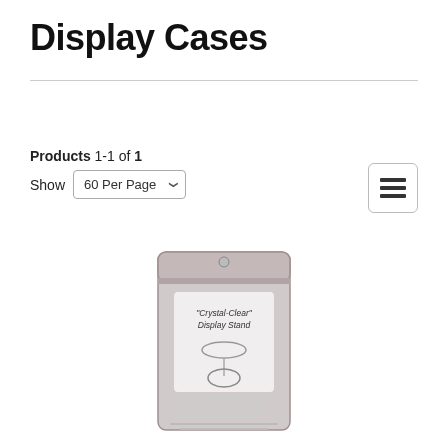Display Cases
Products 1-1 of 1
Show 60 Per Page
[Figure (screenshot): UI control: list-view icon button with three horizontal lines]
[Figure (photo): Product photo: a metallic resealable bag labeled 'Crystal-Clear Display Stand' containing a clear acrylic display stand]